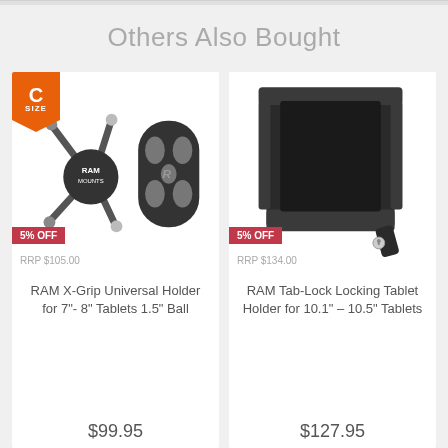Others Also Bought
[Figure (photo): RAM X-Grip Universal Holder for 7"-8" Tablets with 1.5" Ball — X-grip mount and cradle accessory shown]
5% OFF
RRP $105.00
RAM X-Grip Universal Holder for 7"- 8" Tablets 1.5" Ball
$99.95
[Figure (photo): RAM Tab-Lock Locking Tablet Holder for 10.1" – 10.5" Tablets — rear view of tablet in locking cradle]
5% OFF
RRP $134.00
RAM Tab-Lock Locking Tablet Holder for 10.1" – 10.5" Tablets
$127.95